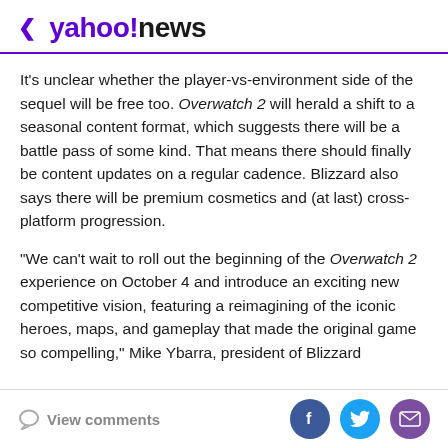< yahoo!news
It's unclear whether the player-vs-environment side of the sequel will be free too. Overwatch 2 will herald a shift to a seasonal content format, which suggests there will be a battle pass of some kind. That means there should finally be content updates on a regular cadence. Blizzard also says there will be premium cosmetics and (at last) cross-platform progression.
"We can't wait to roll out the beginning of the Overwatch 2 experience on October 4 and introduce an exciting new competitive vision, featuring a reimagining of the iconic heroes, maps, and gameplay that made the original game so compelling," Mike Ybarra, president of Blizzard
View comments